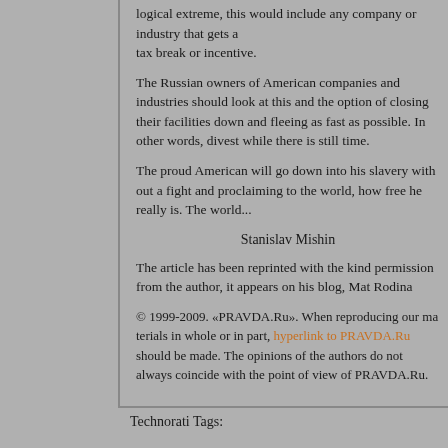logical extreme, this would include any company or industry that gets a tax break or incentive.
The Russian owners of American companies and industries should look at this and the option of closing their facilities down and fleeing as fast as possible. In other words, divest while there is still time.
The proud American will go down into his slavery with out a fight and proclaiming to the world, how free he really is. The wor...
Stanislav Mishin
The article has been reprinted with the kind permission from the author, it appears on his blog, Mat Rodina
© 1999-2009. «PRAVDA.Ru». When reproducing our materials in whole or in part, hyperlink to PRAVDA.Ru should be made. The opinions of the authors do not always coincide with the point of view of PR...
Technorati Tags: